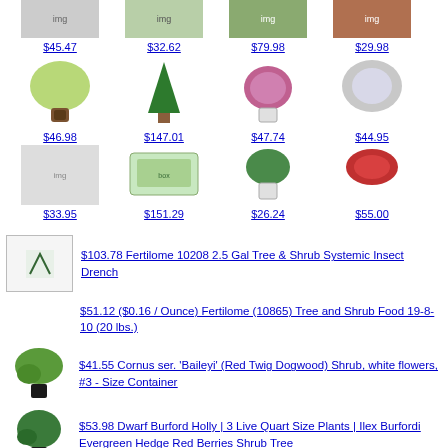[Figure (photo): Grid of plant/shrub product images with prices. Row 1: 4 items at $45.47, $32.62, $79.98, $29.98. Row 2: 4 items at $46.98, $147.01, $47.74, $44.95. Row 3: 4 items at $33.95, $151.29, $26.24, $55.00.]
$103.78 Fertilome 10208 2.5 Gal Tree & Shrub Systemic Insect Drench
$51.12 ($0.16 / Ounce) Fertilome (10865) Tree and Shrub Food 19-8-10 (20 lbs.)
$41.55 Cornus ser. 'Baileyi' (Red Twig Dogwood) Shrub, white flowers, #3 - Size Container
$53.98 Dwarf Burford Holly | 3 Live Quart Size Plants | Ilex Burfordi Evergreen Hedge Red Berries Shrub Tree
$49.98 Ligustrum Japonicum Howardi - 10 Live Plants - Privet Howardii - Variegated Evergreen Shrub